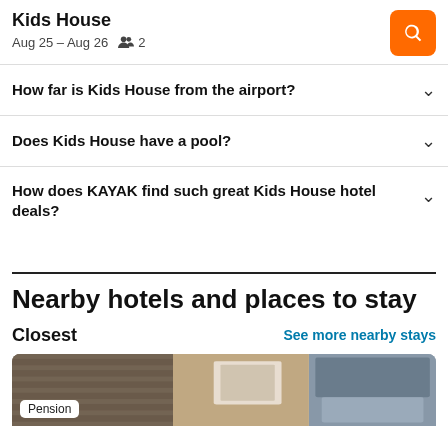Kids House
Aug 25 – Aug 26   2
How far is Kids House from the airport?
Does Kids House have a pool?
How does KAYAK find such great Kids House hotel deals?
Nearby hotels and places to stay
Closest
See more nearby stays
[Figure (photo): Hotel room photo with Pension badge label]